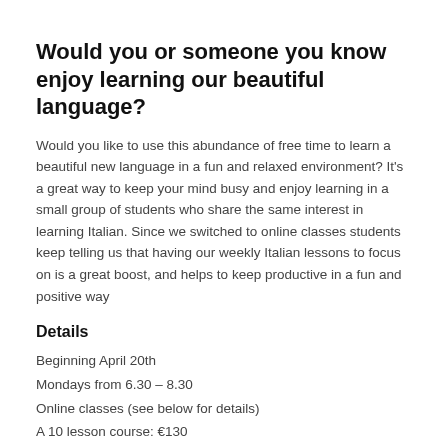Would you or someone you know enjoy learning our beautiful language?
Would you like to use this abundance of free time to learn a beautiful new language in a fun and relaxed environment? It's a great way to keep your mind busy and enjoy learning in a small group of students who share the same interest in learning Italian. Since we switched to online classes students keep telling us that having our weekly Italian lessons to focus on is a great boost, and helps to keep productive in a fun and positive way
Details
Beginning April 20th
Mondays from 6.30 – 8.30
Online classes (see below for details)
A 10 lesson course: €130